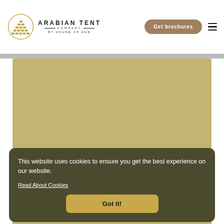[Figure (logo): Arabian Tent Company by House of Hud logo with golden pyramid/tent icon]
Get brochures
[Figure (screenshot): A khaki/tan colored background area representing a main content image placeholder]
This website uses cookies to ensure you get the best experience on our website.
Read About Cookies
Got it!
Ronnie May